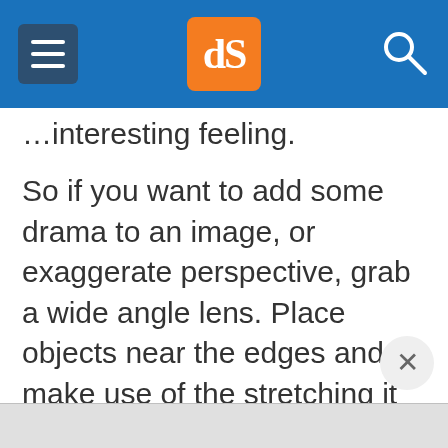dPS navigation header with hamburger menu, dPS logo, and search icon
…interesting feeling.
So if you want to add some drama to an image, or exaggerate perspective, grab a wide angle lens. Place objects near the edges and make use of the stretching it causes.